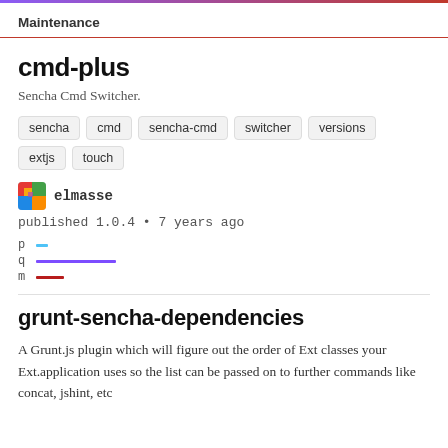Maintenance
cmd-plus
Sencha Cmd Switcher.
sencha
cmd
sencha-cmd
switcher
versions
extjs
touch
elmasse
published 1.0.4 • 7 years ago
[Figure (infographic): Popularity metrics bars: p (short blue), q (long purple), m (short dark red)]
grunt-sencha-dependencies
A Grunt.js plugin which will figure out the order of Ext classes your Ext.application uses so the list can be passed on to further commands like concat, jshint, etc